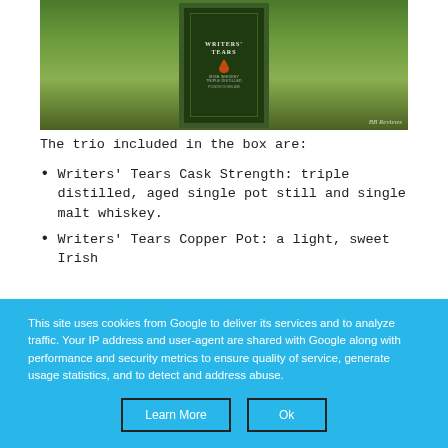[Figure (photo): Writers' Tears Irish Whiskey bottle in a green decorated box, photographed outdoors with green foliage in background. Watermark 'BB Reviews' in bottom right.]
The trio included in the box are:
Writers' Tears Cask Strength: triple distilled, aged single pot still and single malt whiskey.
Writers' Tears Copper Pot: a light, sweet Irish…
This site uses cookies from Google to deliver its services and to analyze traffic. Your IP address and user-agent are shared with Google along with performance and security metrics to ensure quality of service, generate usage statistics, and to detect and address abuse.
Learn More
Ok